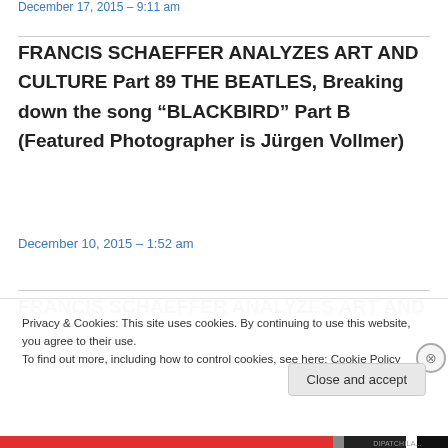December 17, 2015 – 9:11 am
FRANCIS SCHAEFFER ANALYZES ART AND CULTURE Part 89 THE BEATLES, Breaking down the song “BLACKBIRD” Part B (Featured Photographer is Jürgen Vollmer)
December 10, 2015 – 1:52 am
FRANCIS SCHAEFFER ANALYZES ART AND
Privacy & Cookies: This site uses cookies. By continuing to use this website, you agree to their use.
To find out more, including how to control cookies, see here: Cookie Policy
Close and accept